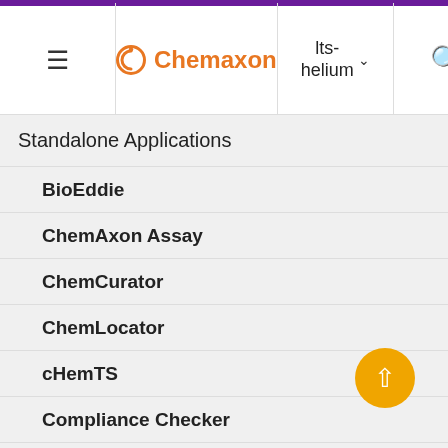Chemaxon | lts-helium
Standalone Applications
BioEddie
ChemAxon Assay
ChemCurator
ChemLocator
cHemTS
Compliance Checker
Compound Registration
Quick Start Guide
attempt to register a multi-component structure in which the same component appears multiple